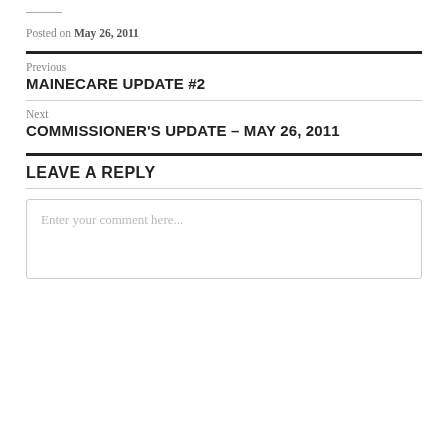Posted on May 26, 2011
Previous
MAINECARE UPDATE #2
Next
COMMISSIONER'S UPDATE – MAY 26, 2011
LEAVE A REPLY
Enter your comment here...